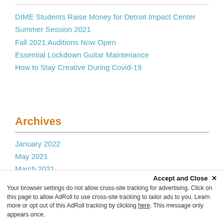DIME Students Raise Money for Detroit Impact Center
Summer Session 2021
Fall 2021 Auditions Now Open
Essential Lockdown Guitar Maintenance
How to Stay Creative During Covid-19
Archives
January 2022
May 2021
March 2021
November 2020
September 2020
July 2020
Accept and Close ×
Your browser settings do not allow cross-site tracking for advertising. Click on this page to allow AdRoll to use cross-site tracking to tailor ads to you. Learn more or opt out of this AdRoll tracking by clicking here. This message only appears once.